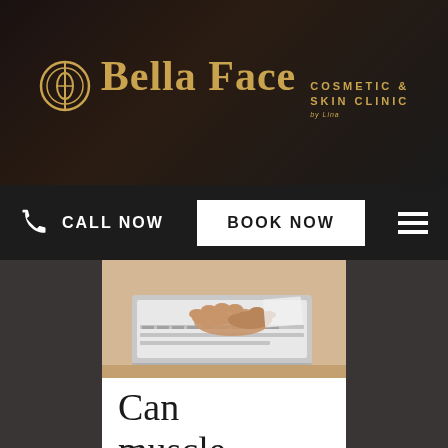[Figure (logo): Bella Face Cosmetic & Skin Clinic logo with golden circular icon and serif text]
CALL NOW
BOOK NOW
[Figure (photo): Hands typing on a laptop keyboard on a wooden desk, blurred background]
Can muscle relaxant